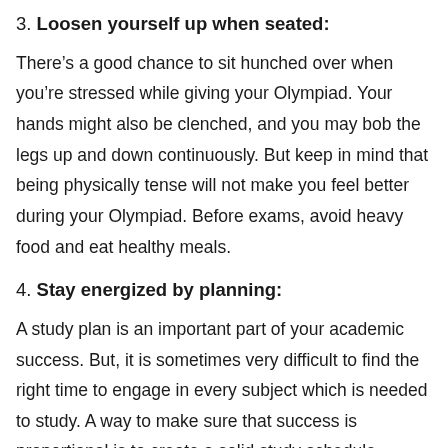3. Loosen yourself up when seated:
There’s a good chance to sit hunched over when you’re stressed while giving your Olympiad. Your hands might also be clenched, and you may bob the legs up and down continuously. But keep in mind that being physically tense will not make you feel better during your Olympiad. Before exams, avoid heavy food and eat healthy meals.
4. Stay energized by planning:
A study plan is an important part of your academic success. But, it is sometimes very difficult to find the right time to engage in every subject which is needed to study. A way to make sure that success is proportional is to create a solid study schedule. Designing a proper study schedule, though, could be much harder than you think. Prioritizing the subjects’